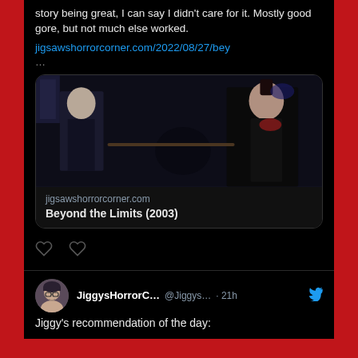story being great, I can say I didn't care for it. Mostly good gore, but not much else worked.
jigsawshorrorcorner.com/2022/08/27/bey
…
[Figure (screenshot): Dark movie scene showing two figures — a pale seated man on the left and a muscular man in dark clothing on the right, with a horizontal stick/sword between them]
jigsawshorrorcorner.com
Beyond the Limits (2003)
JiggysHorrorC… @Jiggys… · 21h
Jiggy's recommendation of the day: